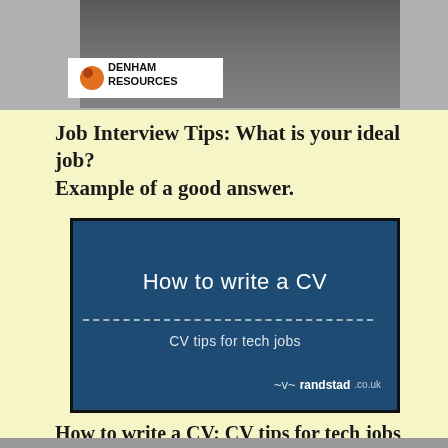[Figure (photo): Top portion of a web page showing a photo strip with a person in the background and a Denham Resources logo overlay on a white badge]
Job Interview Tips: What is your ideal job? Example of a good answer.
[Figure (screenshot): Video thumbnail with dark blue background. Title reads 'How to write a CV', subtitle 'CV tips for tech jobs', with randstad.co.uk branding and a dashed horizontal line separating title from subtitle.]
How to write a CV: CV tips for tech jobs